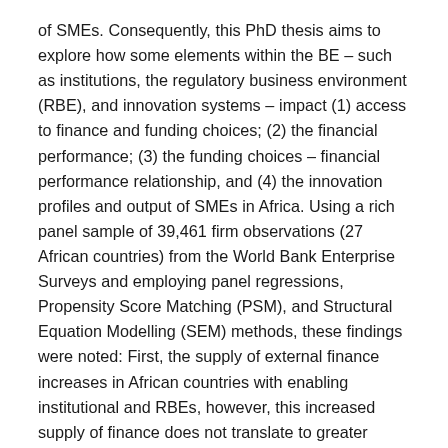of SMEs. Consequently, this PhD thesis aims to explore how some elements within the BE – such as institutions, the regulatory business environment (RBE), and innovation systems – impact (1) access to finance and funding choices; (2) the financial performance; (3) the funding choices – financial performance relationship, and (4) the innovation profiles and output of SMEs in Africa. Using a rich panel sample of 39,461 firm observations (27 African countries) from the World Bank Enterprise Surveys and employing panel regressions, Propensity Score Matching (PSM), and Structural Equation Modelling (SEM) methods, these findings were noted: First, the supply of external finance increases in African countries with enabling institutional and RBEs, however, this increased supply of finance does not translate to greater patronage by SMEs. Second, not all dimensions of an enabling RBE enhance the performance of SMEs in African countries. While an enabling business licensing and tax administration environment improves the performance of